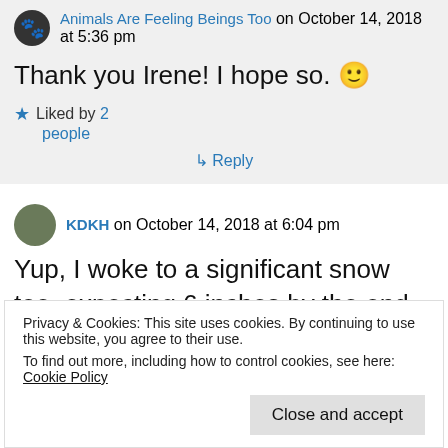Animals Are Feeling Beings Too on October 14, 2018 at 5:36 pm
Thank you Irene! I hope so. 🙂
Liked by 2 people
↳ Reply
KDKH on October 14, 2018 at 6:04 pm
Yup, I woke to a significant snow too, expecting 6 inches by the end of the day. Your pics are gorgeous and I'm looking
Privacy & Cookies: This site uses cookies. By continuing to use this website, you agree to their use.
To find out more, including how to control cookies, see here: Cookie Policy
Close and accept